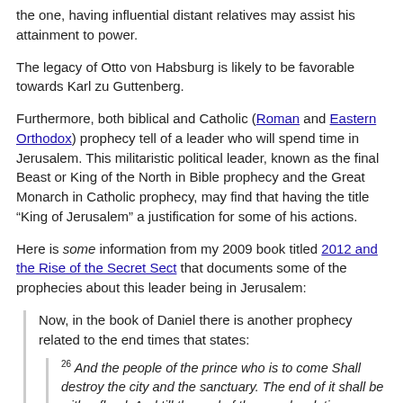the one, having influential distant relatives may assist his attainment to power.
The legacy of Otto von Habsburg is likely to be favorable towards Karl zu Guttenberg.
Furthermore, both biblical and Catholic (Roman and Eastern Orthodox) prophecy tell of a leader who will spend time in Jerusalem. This militaristic political leader, known as the final Beast or King of the North in Bible prophecy and the Great Monarch in Catholic prophecy, may find that having the title “King of Jerusalem” a justification for some of his actions.
Here is some information from my 2009 book titled 2012 and the Rise of the Secret Sect that documents some of the prophecies about this leader being in Jerusalem:
Now, in the book of Daniel there is another prophecy related to the end times that states:
26 And the people of the prince who is to come Shall destroy the city and the sanctuary. The end of it shall be with a flood, And till the end of the war desolations are determined. 27 Then he shall confirm a covenant with many for one week; But in the middle of the week He shall bring an end to sacrifice and offering. And on the wing of abominations shall be one who makes desolate, Even until the consummation, which is determined, Is poured out on the desolate (Daniel 9:26-27).